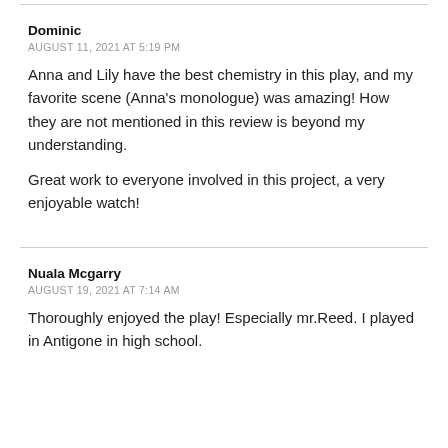Dominic
AUGUST 11, 2021 AT 5:19 PM
Anna and Lily have the best chemistry in this play, and my favorite scene (Anna’s monologue) was amazing! How they are not mentioned in this review is beyond my understanding.
Great work to everyone involved in this project, a very enjoyable watch!
Nuala Mcgarry
AUGUST 19, 2021 AT 7:14 AM
Thoroughly enjoyed the play! Especially mr.Reed. I played in Antigone in high school.